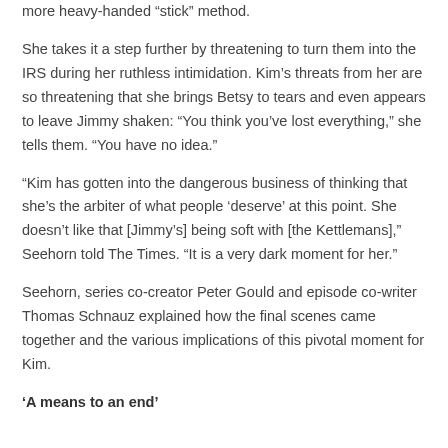more heavy-handed “stick” method.
She takes it a step further by threatening to turn them into the IRS during her ruthless intimidation. Kim’s threats from her are so threatening that she brings Betsy to tears and even appears to leave Jimmy shaken: “You think you’ve lost everything,” she tells them. “You have no idea.”
“Kim has gotten into the dangerous business of thinking that she’s the arbiter of what people ‘deserve’ at this point. She doesn’t like that [Jimmy’s] being soft with [the Kettlemans],” Seehorn told The Times. “It is a very dark moment for her.”
Seehorn, series co-creator Peter Gould and episode co-writer Thomas Schnauz explained how the final scenes came together and the various implications of this pivotal moment for Kim.
‘A means to an end’